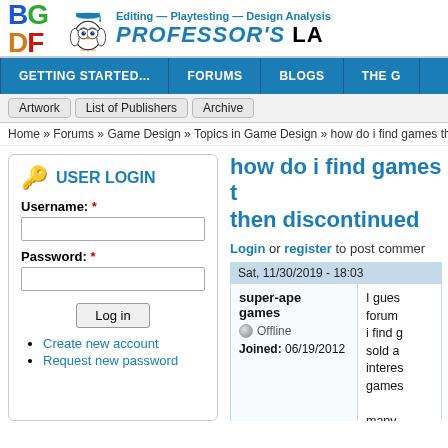[Figure (logo): BGDF site logo with colorful letters B, G, D, F and owl illustration alongside site title 'PROFESSOR'S LAB' and tagline 'Editing — Playtesting — Design Analysis']
GETTING STARTED... | FORUMS | BLOGS | THE G
Artwork | List of Publishers | Archive
Home » Forums » Game Design » Topics in Game Design » how do i find games that
USER LOGIN
Username: *
Password: *
Log in
Create new account
Request new password
how do i find games t then discontinued
Login or register to post commer
Sat, 11/30/2019 - 18:03
super-ape games
Offline
Joined: 06/19/2012
I gues forum i find g sold a interes games many